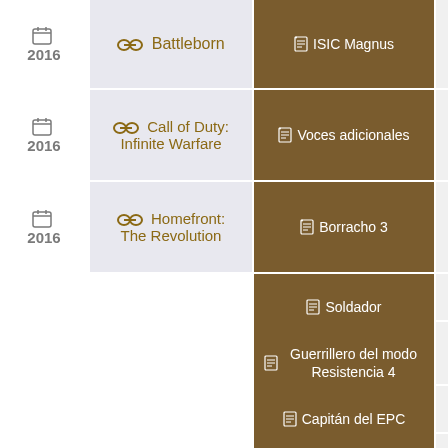2016 | Battleborn | ISIC Magnus
2016 | Call of Duty: Infinite Warfare | Voces adicionales
2016 | Homefront: The Revolution | Borracho 3
Homefront: The Revolution | Soldador
Homefront: The Revolution | Guerrillero del modo Resistencia 4
Homefront: The Revolution | Capitán del EPC
Homefront: The Revolution | Célula Vigía BC
Homefront: The Revolution | Voces adicionales
2016 | World of Warcraft - ...